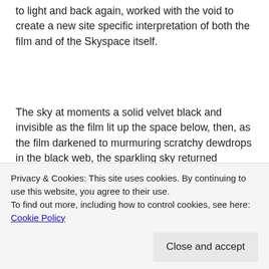to light and back again, worked with the void to create a new site specific interpretation of both the film and of the Skyspace itself.
The sky at moments a solid velvet black and invisible as the film lit up the space below, then, as the film darkened to murmuring scratchy dewdrops in the black web, the sparkling sky returned beyond. Lost in this moment, when I thought it could not get any better, a circular wisp of transparent cloud
Privacy & Cookies: This site uses cookies. By continuing to use this website, you agree to their use.
To find out more, including how to control cookies, see here: Cookie Policy
the presence of you Pauline and the terrible sadness of your